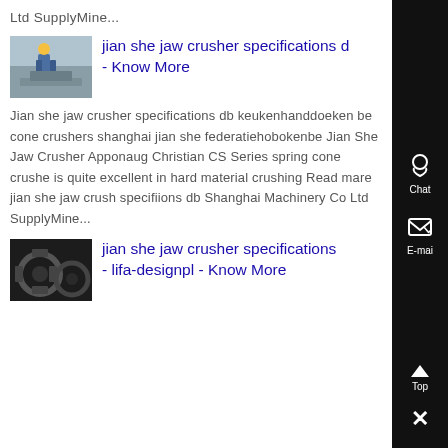Ltd SupplyMine...
[Figure (photo): Worker in blue uniform and yellow hard hat working on industrial equipment]
jian she jaw crusher specifications d - Know More
Jian she jaw crusher specifications db keukenhanddoeken be cone crushers shanghai jian she federatiehobokenbe Jian She Jaw Crusher Apponaug Christian CS Series spring cone crusher is quite excellent in hard material crushing Read mare jian she jaw crush specifiions db Shanghai Machinery Co Ltd SupplyMine...
[Figure (photo): Close-up of industrial crusher gears and mechanical parts]
jian she jaw crusher specifications - lifa-designpl - Know More